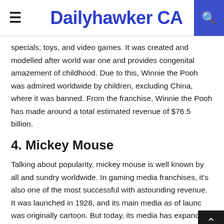Dailyhawker CA
specials, toys, and video games. It was created and modelled after world war one and provides congenital amazement of childhood. Due to this, Winnie the Pooh was admired worldwide by children, excluding China, where it was banned. From the franchise, Winnie the Pooh has made around a total estimated revenue of $76.5 billion.
4. Mickey Mouse
Talking about popularity, mickey mouse is well known by all and sundry worldwide. In gaming media franchises, it's also one of the most successful with astounding revenue. It was launched in 1928, and its main media as of launch was originally cartoon. But today, its media has expanded to include comic books, feature films, DVDs, themes,